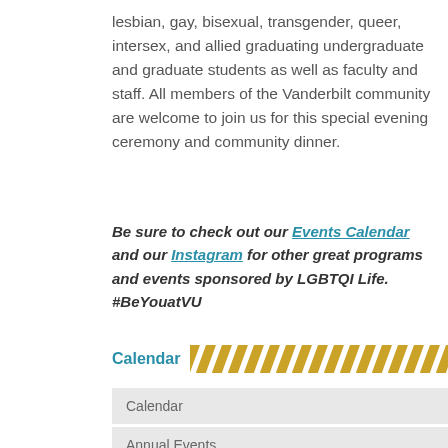lesbian, gay, bisexual, transgender, queer, intersex, and allied graduating undergraduate and graduate students as well as faculty and staff. All members of the Vanderbilt community are welcome to join us for this special evening ceremony and community dinner.
Be sure to check out our Events Calendar and our Instagram for other great programs and events sponsored by LGBTQI Life. #BeYouatVU
Calendar
| Calendar |
| Annual Events |